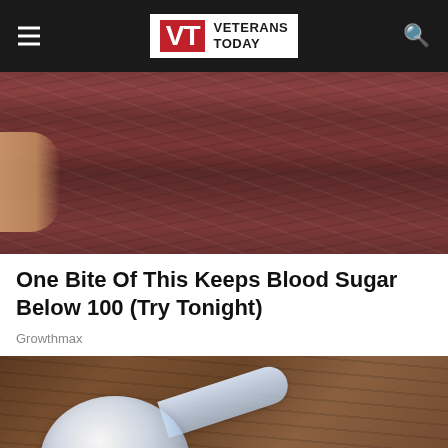VETERANS TODAY
[Figure (photo): Close-up of a pair of walnuts being held by a hand, dark brown textured surface]
One Bite Of This Keeps Blood Sugar Below 100 (Try Tonight)
Growthmax
[Figure (photo): A clear plastic measuring scoop filled with white powder on a wooden surface, with some powder scattered around it]